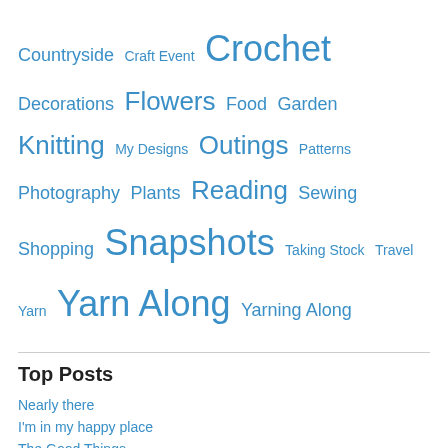Countryside  Craft Event  Crochet  Decorations  Flowers  Food  Garden  Knitting  My Designs  Outings  Patterns  Photography  Plants  Reading  Sewing  Shopping  Snapshots  Taking Stock  Travel  Yarn  Yarn Along  Yarning Along
Top Posts
Nearly there
I'm in my happy place
The Good Things
Catherine wheeling
Inside Crochet magazine
Huge granny square blanket - finished!
Happiness is my new blanket
The thing is -